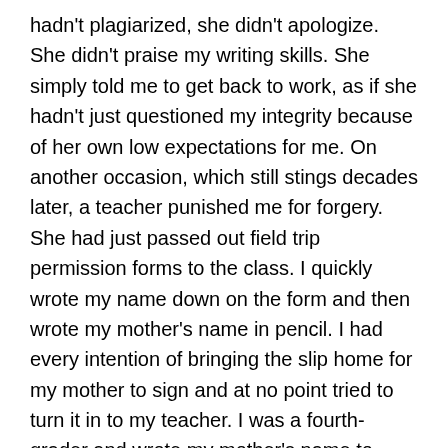hadn't plagiarized, she didn't apologize. She didn't praise my writing skills. She simply told me to get back to work, as if she hadn't just questioned my integrity because of her own low expectations for me. On another occasion, which still stings decades later, a teacher punished me for forgery. She had just passed out field trip permission forms to the class. I quickly wrote my name down on the form and then wrote my mother's name in pencil. I had every intention of bringing the slip home for my mother to sign and at no point tried to turn it in to my teacher. I was a fourth-grader and wrote my mother's name to practice my cursive. Because I'd written her name in pencil, I didn't think I'd done anything wrong, but my teacher passed by, saw the signed slip on my desk and accused me of forgery. It didn't matter that I lacked a clear understanding of what forgery was or a motive to commit it. I had no reason to think my mother wouldn't have signed the form, since she'd permitted me to go on every previous field trip. None of this information swayed the teacher. [pullquote